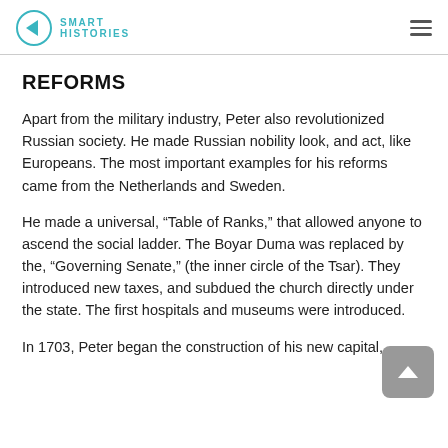SMART HISTORIES
REFORMS
Apart from the military industry, Peter also revolutionized Russian society. He made Russian nobility look, and act, like Europeans. The most important examples for his reforms came from the Netherlands and Sweden.
He made a universal, “Table of Ranks,” that allowed anyone to ascend the social ladder. The Boyar Duma was replaced by the, “Governing Senate,” (the inner circle of the Tsar). They introduced new taxes, and subdued the church directly under the state. The first hospitals and museums were introduced.
In 1703, Peter began the construction of his new capital,